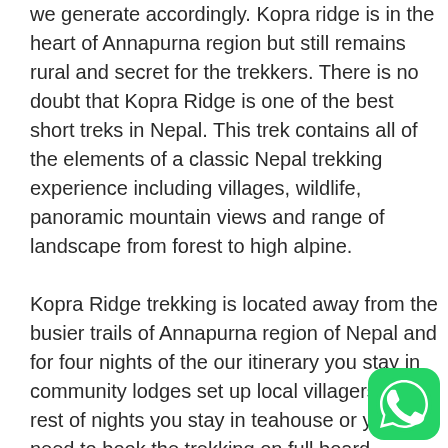we generate accordingly. Kopra ridge is in the heart of Annapurna region but still remains rural and secret for the trekkers. There is no doubt that Kopra Ridge is one of the best short treks in Nepal. This trek contains all of the elements of a classic Nepal trekking experience including villages, wildlife, panoramic mountain views and range of landscape from forest to high alpine.
Kopra Ridge trekking is located away from the busier trails of Annapurna region of Nepal and for four nights of the our itinerary you stay in community lodges set up local villagers and rest of nights you stay in teahouse or you need to book the trekking on full board camping for stay in tent camp and food prepare and provides by our own cook. Kopra ridge and Poon Hill trekking is provides immense views Mount Dhaulagiri (8167m), Nilgiri (7061m), Dhau...
[Figure (logo): WhatsApp green circular button icon in bottom right corner]